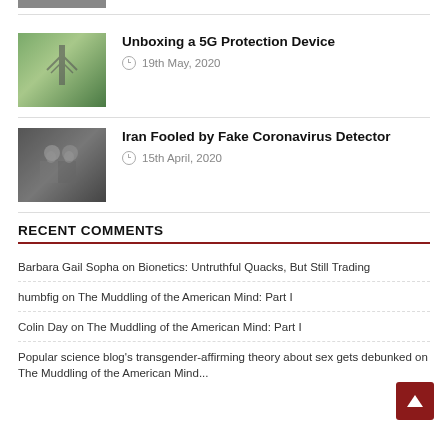[Figure (photo): Partial image visible at top of page]
Unboxing a 5G Protection Device
19th May, 2020
[Figure (photo): Photo related to 5G Protection Device article]
Iran Fooled by Fake Coronavirus Detector
15th April, 2020
[Figure (photo): Photo related to Iran Fake Coronavirus Detector article]
RECENT COMMENTS
Barbara Gail Sopha on Bionetics: Untruthful Quacks, But Still Trading
humbfig on The Muddling of the American Mind: Part I
Colin Day on The Muddling of the American Mind: Part I
Popular science blog's transgender-affirming theory about sex gets debunked on The Muddling of the American Mind...